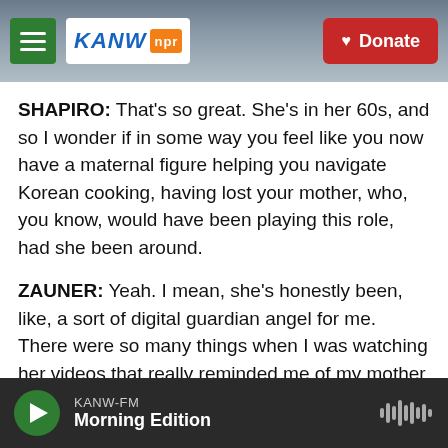[Figure (screenshot): KANW NPR radio website header with hamburger menu (green), KANW NPR logo, and red Donate button, set against a mountain landscape background]
SHAPIRO: That's so great. She's in her 60s, and so I wonder if in some way you feel like you now have a maternal figure helping you navigate Korean cooking, having lost your mother, who, you know, would have been playing this role, had she been around.
ZAUNER: Yeah. I mean, she's honestly been, like, a sort of digital guardian angel for me. There were so many things when I was watching her videos that really reminded me of my mother and brought me such great comfort from the way that she peels an Asian pear with this giant knife towards her in, like,
KANW-FM
Morning Edition